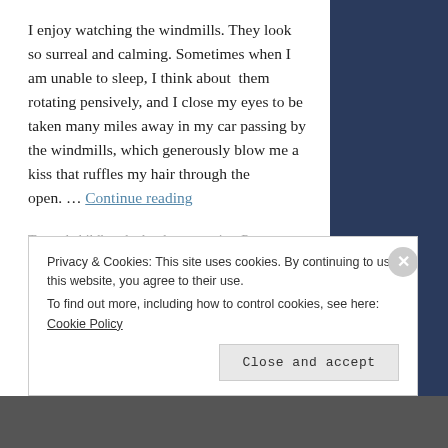I enjoy watching the windmills. They look so surreal and calming. Sometimes when I am unable to sleep, I think about them rotating pensively, and I close my eyes to be taken many miles away in my car passing by the windmills, which generously blow me a kiss that ruffles my hair through the open. … Continue reading
Tagged childhood, clouds, memories, Poetry, prose, road trip, time, windmills, Writing
26 Comments
Privacy & Cookies: This site uses cookies. By continuing to use this website, you agree to their use. To find out more, including how to control cookies, see here: Cookie Policy
Close and accept